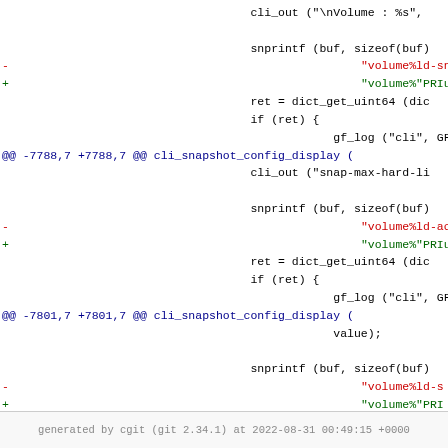[Figure (screenshot): Code diff showing changes in cli_snapshot_config_display function with removed lines (red minus) replacing volume%ld format strings with volume%PRIu64 format strings, and added lines (green plus). Multiple hunks shown with @@ markers in blue. Lines show snprintf, dict_get_uint64, if/ret blocks, and gf_log calls.]
generated by cgit (git 2.34.1) at 2022-08-31 00:49:15 +0000